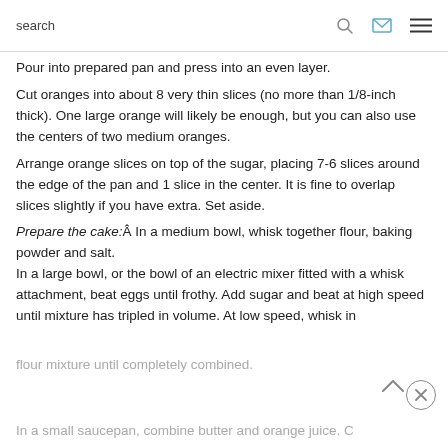search
Pour into prepared pan and press into an even layer.
Cut oranges into about 8 very thin slices (no more than 1/8-inch thick). One large orange will likely be enough, but you can also use the centers of two medium oranges.
Arrange orange slices on top of the sugar, placing 7-6 slices around the edge of the pan and 1 slice in the center. It is fine to overlap slices slightly if you have extra. Set aside.
Prepare the cake: In a medium bowl, whisk together flour, baking powder and salt.
In a large bowl, or the bowl of an electric mixer fitted with a whisk attachment, beat eggs until frothy. Add sugar and beat at high speed until mixture has tripled in volume. At low speed, whisk in
flour mixture until completely combined.
In a small saucepan, combine butter and orange juice. C